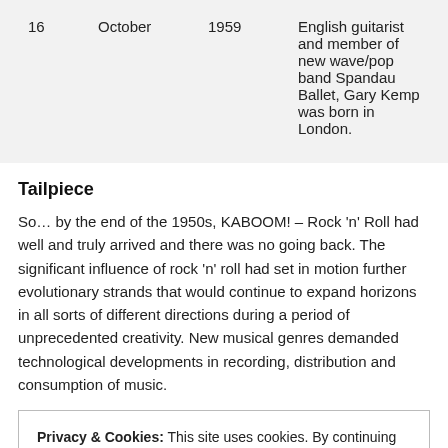|  |  |  |  |
| --- | --- | --- | --- |
| 16 | October | 1959 | English guitarist and member of new wave/pop band Spandau Ballet, Gary Kemp was born in London. |
Tailpiece
So… by the end of the 1950s, KABOOM! – Rock 'n' Roll had well and truly arrived and there was no going back. The significant influence of rock 'n' roll had set in motion further evolutionary strands that would continue to expand horizons in all sorts of different directions during a period of unprecedented creativity. New musical genres demanded technological developments in recording, distribution and consumption of music.
Privacy & Cookies: This site uses cookies. By continuing to use this website, you agree to their use.
To find out more, including how to control cookies, see here: Cookie Policy
Close and accept
later, followed by some serious playing Hollister shift next time.